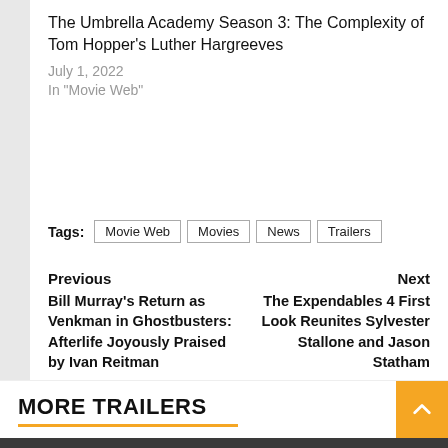The Umbrella Academy Season 3: The Complexity of Tom Hopper's Luther Hargreeves
July 1, 2022
In "Movie Web"
Tags: Movie Web  Movies  News  Trailers
Previous
Bill Murray's Return as Venkman in Ghostbusters: Afterlife Joyously Praised by Ivan Reitman
Next
The Expendables 4 First Look Reunites Sylvester Stallone and Jason Statham
MORE TRAILERS